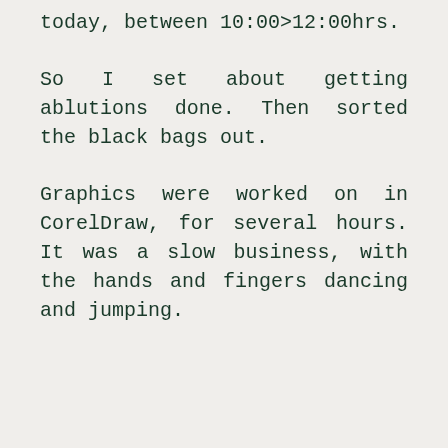today, between 10:00>12:00hrs.
So I set about getting ablutions done. Then sorted the black bags out.
Graphics were worked on in CorelDraw, for several hours. It was a slow business, with the hands and fingers dancing and jumping.